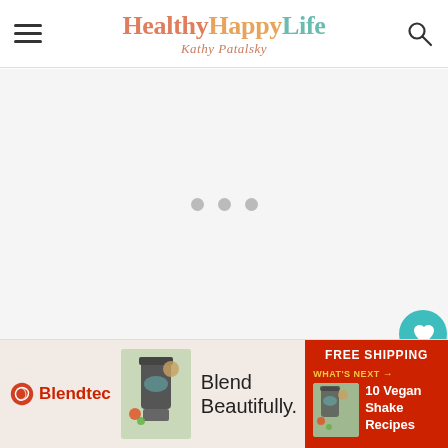HealthyHappyLife — Kathy Patalsky
[Figure (screenshot): Loading spinner with three grey dots on a light grey background, main content area placeholder]
[Figure (screenshot): Blendtec advertisement banner: Blendtec logo on left with 'Blend Beautifully.' text, red right panel with 'FREE SHIPPING', 'WHAT'S NEXT' and '10 Vegan Shake Recipes']
[Figure (other): Social sidebar: teal heart button, count '1', share button]